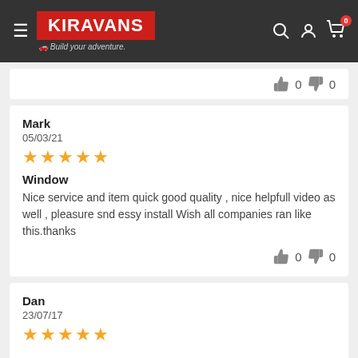[Figure (logo): Kiravans website header with hamburger menu, red KIRAVANS logo, Build your adventure tagline, and search/account/cart icons]
👍 0 👎 0
Mark
05/03/21
★★★★★
Window
Nice service and item quick good quality , nice helpfull video as well , pleasure snd essy install Wish all companies ran like this.thanks
👍 0 👎 0
Dan
23/07/17
★★★★★